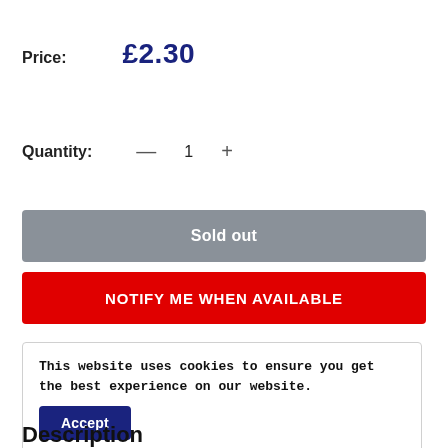Price:  £2.30
Quantity:  —  1  +
Sold out
NOTIFY ME WHEN AVAILABLE
This website uses cookies to ensure you get the best experience on our website.
Accept
Description